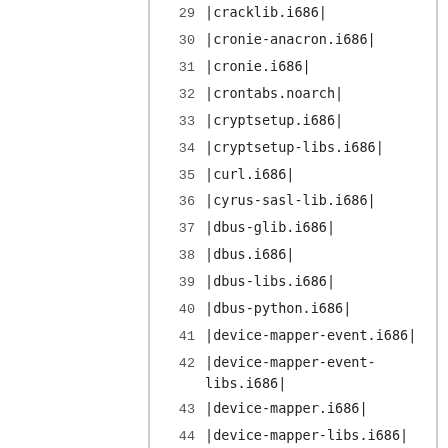29 |cracklib.i686|
30 |cronie-anacron.i686|
31 |cronie.i686|
32 |crontabs.noarch|
33 |cryptsetup.i686|
34 |cryptsetup-libs.i686|
35 |curl.i686|
36 |cyrus-sasl-lib.i686|
37 |dbus-glib.i686|
38 |dbus.i686|
39 |dbus-libs.i686|
40 |dbus-python.i686|
41 |device-mapper-event.i686|
42 |device-mapper-event-libs.i686|
43 |device-mapper.i686|
44 |device-mapper-libs.i686|
45 |device-mapper-multipath.i686|
46 |device-mapper-multipath-libs.i686|
47 |device-mapper-persistent-data.i686|
48 |dhclient.i686|
49 |dhcp-common.i686|
50 |dhcp-libs.i686|
51 |diffutils.i686|
52 |dmidecode.i686|
53 |dmraid-events.i686|